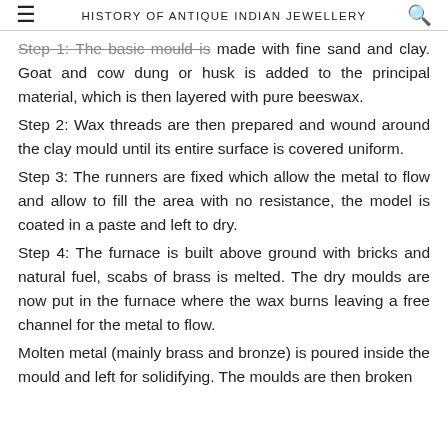HISTORY OF ANTIQUE INDIAN JEWELLERY
Step 1: The basic mould is made with fine sand and clay. Goat and cow dung or husk is added to the principal material, which is then layered with pure beeswax.
Step 2: Wax threads are then prepared and wound around the clay mould until its entire surface is covered uniform.
Step 3: The runners are fixed which allow the metal to flow and allow to fill the area with no resistance, the model is coated in a paste and left to dry.
Step 4: The furnace is built above ground with bricks and natural fuel, scabs of brass is melted. The dry moulds are now put in the furnace where the wax burns leaving a free channel for the metal to flow.
Molten metal (mainly brass and bronze) is poured inside the mould and left for solidifying. The moulds are then broken